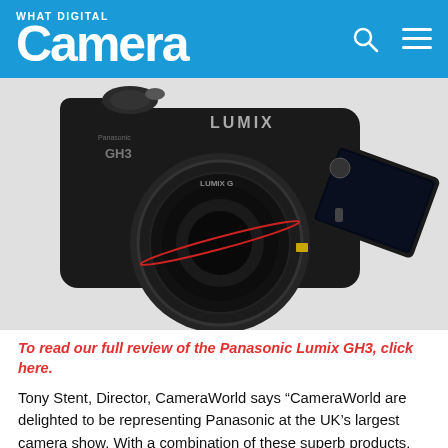What Digital Camera
[Figure (photo): Panasonic Lumix GH3 camera with flip-out touchscreen LCD, fitted with a Lumix G lens, shown against a white background.]
To read our full review of the Panasonic Lumix GH3, click here.
Tony Stent, Director, CameraWorld says “CameraWorld are delighted to be representing Panasonic at the UK’s largest camera show. With a combination of these superb products, expert advice, our famed, friendly service and jaw-dropping, show only offers, you’ll find it well worth a trip. We look forward to seeing you there.”